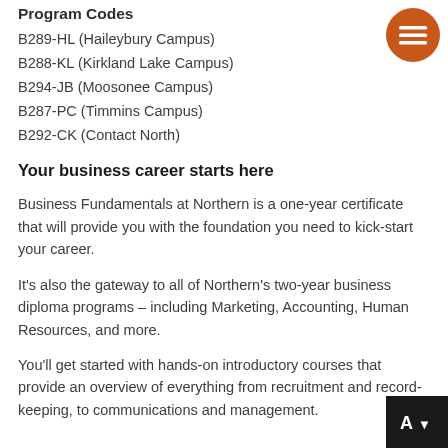Program Codes
B289-HL (Haileybury Campus)
B288-KL (Kirkland Lake Campus)
B294-JB (Moosonee Campus)
B287-PC (Timmins Campus)
B292-CK (Contact North)
Your business career starts here
Business Fundamentals at Northern is a one-year certificate that will provide you with the foundation you need to kick-start your career.
It’s also the gateway to all of Northern’s two-year business diploma programs – including Marketing, Accounting, Human Resources, and more.
You'll get started with hands-on introductory courses that provide an overview of everything from recruitment and record-keeping, to communications and management.